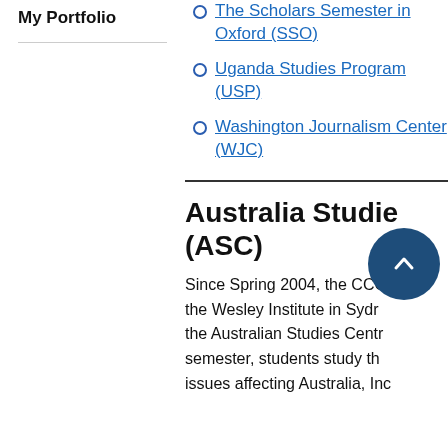My Portfolio
The Scholars Semester in Oxford (SSO)
Uganda Studies Program (USP)
Washington Journalism Center (WJC)
Australia Studies (ASC)
Since Spring 2004, the CCO the Wesley Institute in Sydr the Australian Studies Centr semester, students study th issues affecting Australia, Inc